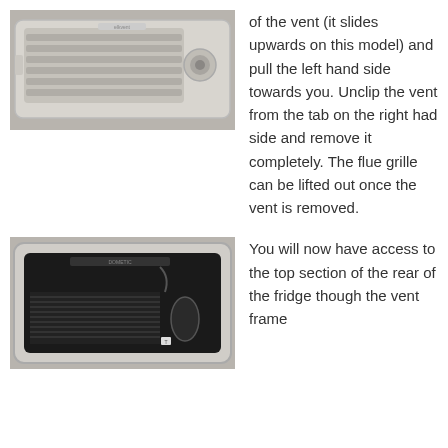[Figure (photo): Photo of a white rectangular vent/grille mounted on a grey wall surface, with horizontal slats and a circular component on the right side. Brand label visible at top center.]
of the vent (it slides upwards on this model) and pull the left hand side towards you. Unclip the vent from the tab on the right had side and remove it completely. The flue grille can be lifted out once the vent is removed.
[Figure (photo): Photo of the vent opening with the grille removed, showing the dark interior rear section of a fridge with fins/coils visible, mounted within a white frame on a grey wall.]
You will now have access to the top section of the rear of the fridge though the vent frame